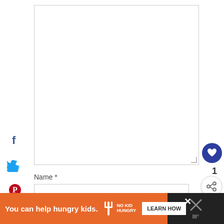[Figure (screenshot): Comment form with textarea field, Name field, Email field, and Website field. Social sharing icons (Facebook, Twitter, Pinterest, Yummly) on left sidebar. Heart/like button and share button on right side. Orange advertisement banner at bottom for No Kid Hungry.]
Name *
Email *
Website
0
SHARES
1
You can help hungry kids.
LEARN HOW